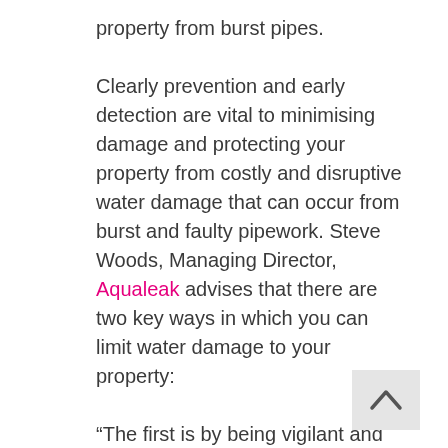property from burst pipes.

Clearly prevention and early detection are vital to minimising damage and protecting your property from costly and disruptive water damage that can occur from burst and faulty pipework. Steve Woods, Managing Director, Aqualeak advises that there are two key ways in which you can limit water damage to your property:

“The first is by being vigilant and spotting potential problems with pipework early. The earlier you identify potential problems, the quicker you can address them before they become catastrophic. The second, in the event